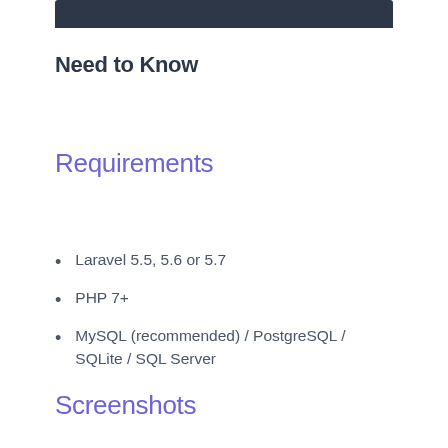[Figure (other): Dark header bar at top of page]
Need to Know
Requirements
Laravel 5.5, 5.6 or 5.7
PHP 7+
MySQL (recommended) / PostgreSQL / SQLite / SQL Server
Screenshots